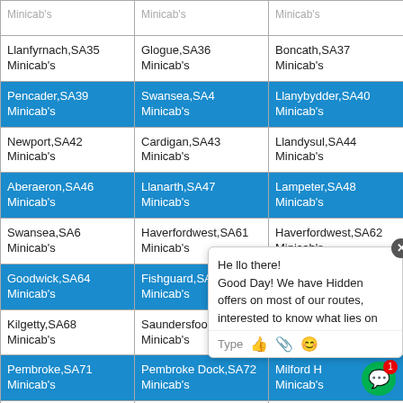| Minicab's | Minicab's | Minicab's |
| Llanfyrnach,SA35 Minicab's | Glogue,SA36 Minicab's | Boncath,SA37 Minicab's |
| Pencader,SA39 Minicab's | Swansea,SA4 Minicab's | Llanybydder,SA40 Minicab's |
| Newport,SA42 Minicab's | Cardigan,SA43 Minicab's | Llandysul,SA44 Minicab's |
| Aberaeron,SA46 Minicab's | Llanarth,SA47 Minicab's | Lampeter,SA48 Minicab's |
| Swansea,SA6 Minicab's | Haverfordwest,SA61 Minicab's | Haverfordwest,SA62 Minicab's |
| Goodwick,SA64 Minicab's | Fishguard,SA65 Minicab's | Clynderwen,SA66 Minicab's |
| Kilgetty,SA68 Minicab's | Saundersfoot,SA69 Minicab's | Swansea,SA7... Minicab's |
| Pembroke,SA71 Minicab's | Pembroke Dock,SA72 Minicab's | Milford Haven... Minicab's |
| Swansea,SA9 Minicab's | London,SE1 Minicab's | London,SE... Minicab's |
| London,SE12 Minicab's | London,SE13 Minicab's | London,SE14 Minicab's |